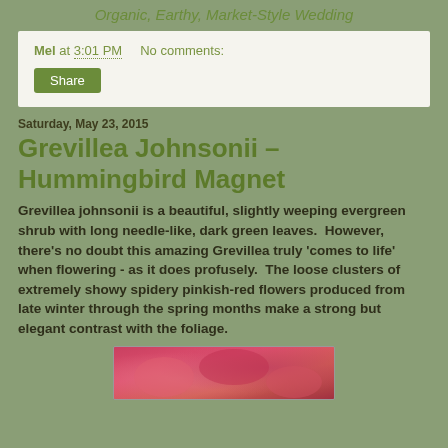Organic, Earthy, Market-Style Wedding
Mel at 3:01 PM   No comments:
Share
Saturday, May 23, 2015
Grevillea Johnsonii – Hummingbird Magnet
Grevillea johnsonii is a beautiful, slightly weeping evergreen shrub with long needle-like, dark green leaves.  However, there's no doubt this amazing Grevillea truly 'comes to life' when flowering - as it does profusely.  The loose clusters of extremely showy spidery pinkish-red flowers produced from late winter through the spring months make a strong but elegant contrast with the foliage.
[Figure (photo): Partial photo strip of pinkish-red Grevillea Johnsonii flowers at the bottom of the page]